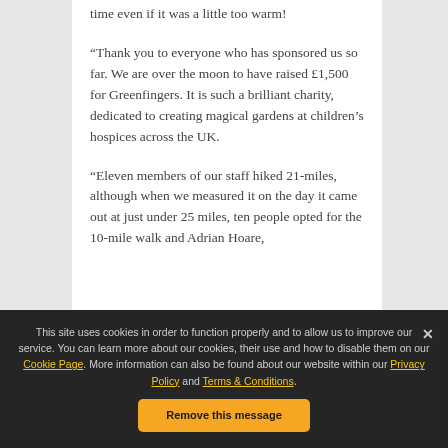time even if it was a little too warm!
“Thank you to everyone who has sponsored us so far. We are over the moon to have raised £1,500 for Greenfingers. It is such a brilliant charity, dedicated to creating magical gardens at children’s hospices across the UK.
“Eleven members of our staff hiked 21-miles, although when we measured it on the day it came out at just under 25 miles, ten people opted for the 10-mile walk and Adrian Hoare,
This site uses cookies in order to function properly and to allow us to improve our service. You can learn more about our cookies, their use and how to disable them on our Cookie Page. More information can also be found about our website within our Privacy Policy and Terms & Conditions.
Remove this message